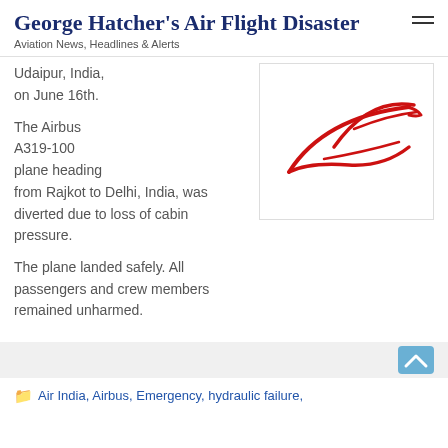George Hatcher's Air Flight Disaster
Aviation News, Headlines & Alerts
Udaipur, India, on June 16th.
[Figure (logo): Air India stylized bird logo in red]
The Airbus A319-100 plane heading from Rajkot to Delhi, India, was diverted due to loss of cabin pressure.
The plane landed safely. All passengers and crew members remained unharmed.
Air India, Airbus, Emergency, hydraulic failure,